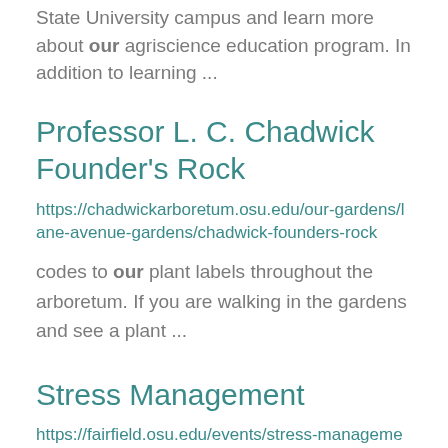State University campus and learn more about our agriscience education program. In addition to learning ...
Professor L. C. Chadwick Founder's Rock
https://chadwickarboretum.osu.edu/our-gardens/lane-avenue-gardens/chadwick-founders-rock
codes to our plant labels throughout the arboretum. If you are walking in the gardens and see a plant ...
Stress Management
https://fairfield.osu.edu/events/stress-management